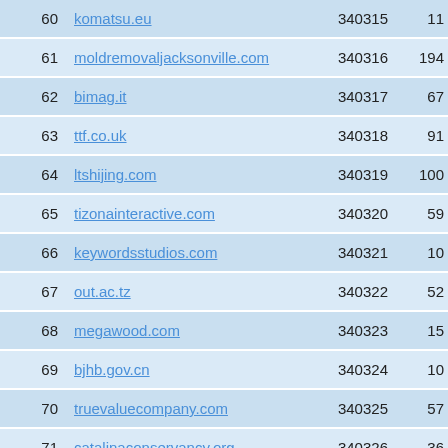| # | Domain | ID | Value |
| --- | --- | --- | --- |
| 60 | komatsu.eu | 340315 | 11 |
| 61 | moldremovaljacksonville.com | 340316 | 194 |
| 62 | bimag.it | 340317 | 67 |
| 63 | ttf.co.uk | 340318 | 91 |
| 64 | ltshijing.com | 340319 | 100 |
| 65 | tizonainteractive.com | 340320 | 59 |
| 66 | keywordsstudios.com | 340321 | 10 |
| 67 | out.ac.tz | 340322 | 52 |
| 68 | megawood.com | 340323 | 15 |
| 69 | bjhb.gov.cn | 340324 | 10 |
| 70 | truevaluecompany.com | 340325 | 57 |
| 71 | catalinaconservancy.org | 340326 | 36 |
| 72 | cwnu.cn | 340327 | 99 |
| 73 | immi.is | 340328 | 48 |
| 74 | ... | 340329 |  |